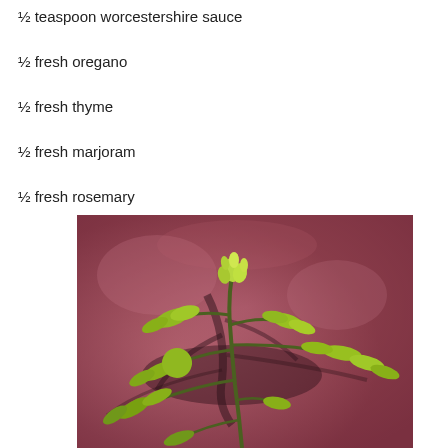½ teaspoon worcestershire sauce
½ fresh oregano
½ fresh thyme
½ fresh marjoram
½ fresh rosemary
[Figure (photo): A fresh herb sprig with bright green leaves photographed against a reddish-brown background, appearing to be rosemary or a similar herb.]